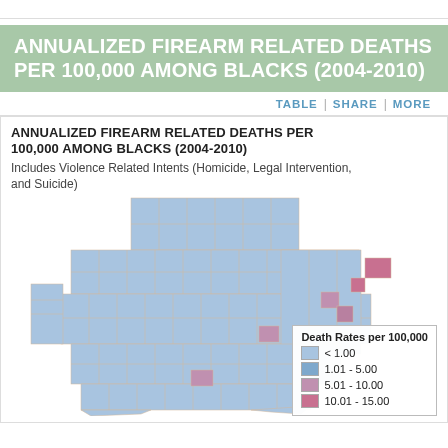ANNUALIZED FIREARM RELATED DEATHS PER 100,000 AMONG BLACKS (2004-2010)
TABLE | SHARE | MORE
ANNUALIZED FIREARM RELATED DEATHS PER 100,000 AMONG BLACKS (2004-2010)
Includes Violence Related Intents (Homicide, Legal Intervention, and Suicide)
[Figure (map): Choropleth map of Texas counties showing annualized firearm related deaths per 100,000 among Blacks (2004-2010). Most counties are light blue indicating < 1.00, with several counties in east/northeast Texas showing higher rates in pink/mauve colors (5.01-15.00 range). Legend shows death rates per 100,000: < 1.00 (light blue), 1.01-5.00 (medium blue), 5.01-10.00 (light pink/mauve), 10.01-15.00 (darker pink).]